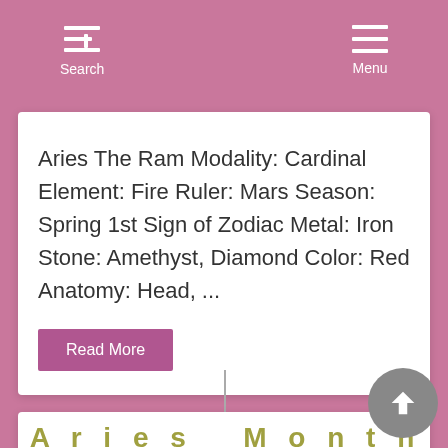Search  Menu
Aries The Ram Modality: Cardinal Element: Fire Ruler: Mars Season: Spring 1st Sign of Zodiac Metal: Iron Stone: Amethyst, Diamond Color: Red Anatomy: Head, ...
Read More
Aries Monthly Horoscope